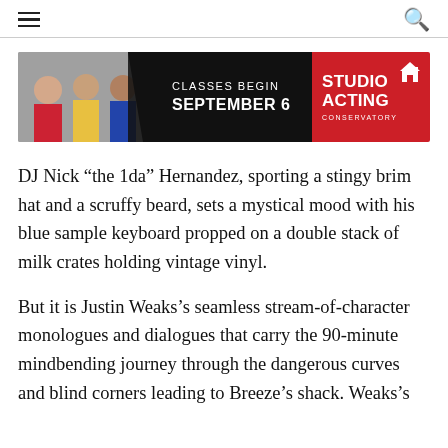[Figure (infographic): Advertisement banner for Studio Acting Conservatory. Left: photo of students laughing. Middle black section: 'CLASSES BEGIN SEPTEMBER 6'. Right red section: 'STUDIO ACTING CONSERVATORY' with house icon.]
DJ Nick “the 1da” Hernandez, sporting a stingy brim hat and a scruffy beard, sets a mystical mood with his blue sample keyboard propped on a double stack of milk crates holding vintage vinyl.
But it is Justin Weaks’s seamless stream-of-character monologues and dialogues that carry the 90-minute mindbending journey through the dangerous curves and blind corners leading to Breeze’s shack. Weaks’s